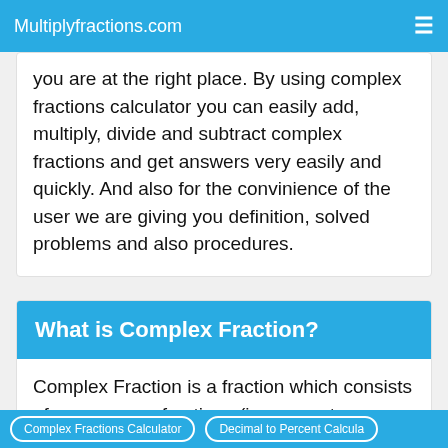Multiplyfractions.com
you are at the right place. By using complex fractions calculator you can easily add, multiply, divide and subtract complex fractions and get answers very easily and quickly. And also for the convinience of the user we are giving you definition, solved problems and also procedures.
What is Complex Fraction?
Complex Fraction is a fraction which consists of one or more fractions (in numerator or denominator or both) inside it.
Complex Fractions Calculator | Decimal to Percent Calculator